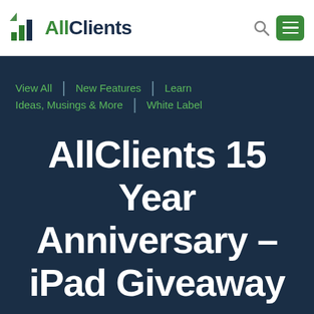[Figure (logo): AllClients logo with green bar chart icon and text 'AllClients' in green and dark navy]
AllClients — header with search icon and green hamburger menu button
View All | New Features | Learn
Ideas, Musings & More | White Label
AllClients 15 Year Anniversary – iPad Giveaway